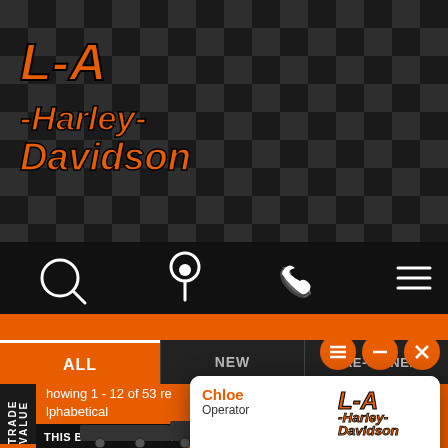[Figure (screenshot): L-A Harley-Davidson website mobile view with checkered flag header background and navigation icons]
ALL
NEW
PRE-OWNED
TRADE VALUE
howing 1 - 12 of 53 re
lphabetical
THIS BIKE IS ON ITS W
Chloe
Operator
Chloe: Welcome to L-A Harley-Davidson. How may I help you?
Type here...
Powered By: LiveAdmins